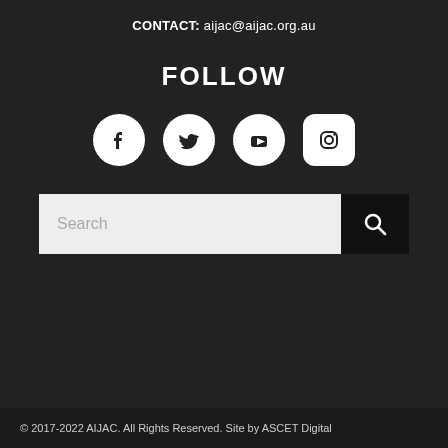CONTACT: aijac@aijac.org.au
FOLLOW
[Figure (infographic): Four social media icons in white circles/rounded rectangles: Facebook, Twitter, YouTube, Instagram]
[Figure (other): Search bar with text input placeholder 'Search' and a black search button with magnifying glass icon]
© 2017-2022 AIJAC. All Rights Reserved. Site by ASCET Digital